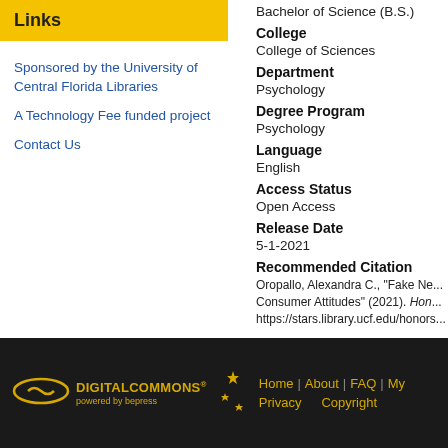Links
Sponsored by the University of Central Florida Libraries
A Technology Fee funded project
Contact Us
Bachelor of Science (B.S.)
College
College of Sciences
Department
Psychology
Degree Program
Psychology
Language
English
Access Status
Open Access
Release Date
5-1-2021
Recommended Citation
Oropallo, Alexandra C., "Fake Ne... Consumer Attitudes" (2021). Hon... https://stars.library.ucf.edu/honors...
DIGITAL COMMONS powered by bepress | Home | About | FAQ | My... | Privacy | Copyright